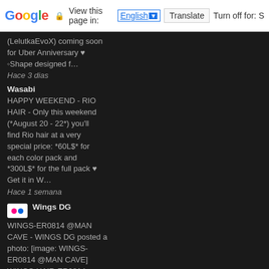Google | View this page in: English [dropdown] | Translate | Turn off for: S
(LelutkaEvoX) coming soon for Uber Anniversary ♥ ◦Shape designed f...
Hace 3 dias
Wasabi
HAPPY WEEKEND - RIO HAIR - Only this weekend (*August 20 - 22*) you'll find Rio hair at a very special price: *60L$* for each color pack and *300L$* for the full pack ♥ Get it in W...
Hace 1 semana
Wings DG
WINGS-ER0814 @MAN CAVE - WINGS DG posted a photo: [image: WINGS-ER0814 @MAN CAVE] WINGS-HAIR-ER0814 Event|MAN CAVE|17-08-2022| This hairstyle has four style - Hair (Unrigged)
...